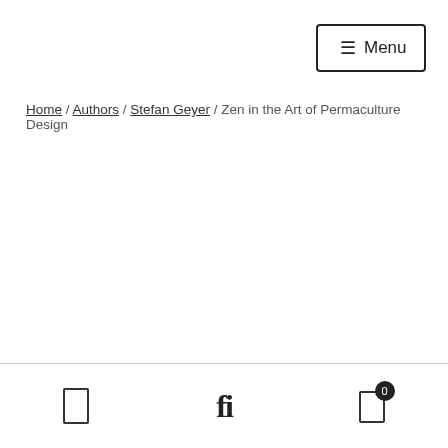☰ Menu
Home / Authors / Stefan Geyer / Zen in the Art of Permaculture Design
☐  fi  🛒 0